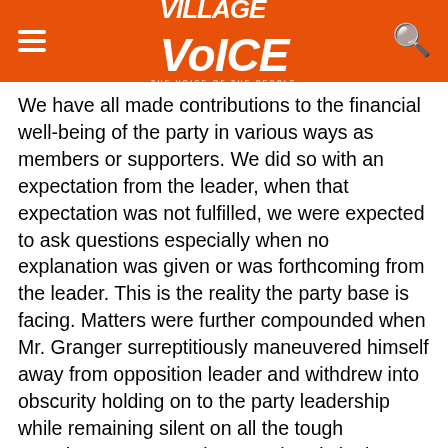Village Voice
We have all made contributions to the financial well-being of the party in various ways as members or supporters. We did so with an expectation from the leader, when that expectation was not fulfilled, we were expected to ask questions especially when no explanation was given or was forthcoming from the leader. This is the reality the party base is facing. Matters were further compounded when Mr. Granger surreptitiously maneuvered himself away from opposition leader and withdrew into obscurity holding on to the party leadership while remaining silent on all the tough questions. Let us not bury our heads in the sand and risk a permanent fracture in the Party's foundation as a historically important political institution in the country.